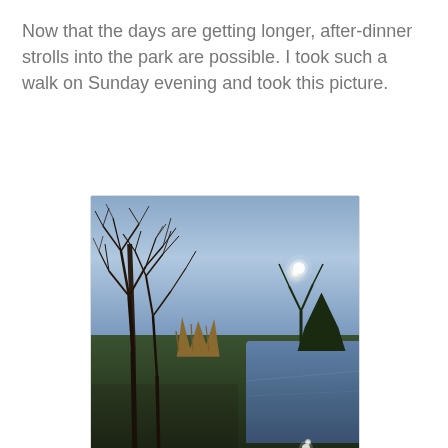Now that the days are getting longer, after-dinner strolls into the park are possible. I took such a walk on Sunday evening and took this picture.
[Figure (photo): Evening park scene with bare winter trees on the left, a calm pond/lake on the right reflecting the dusk sky, green grass in the foreground, and a visible moon in the blue-grey twilight sky.]